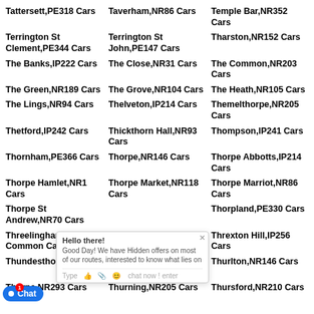Tattersett,PE318 Cars
Taverham,NR86 Cars
Temple Bar,NR352 Cars
Terrington St Clement,PE344 Cars
Terrington St John,PE147 Cars
Tharston,NR152 Cars
The Banks,IP222 Cars
The Close,NR31 Cars
The Common,NR203 Cars
The Green,NR189 Cars
The Grove,NR104 Cars
The Heath,NR105 Cars
The Lings,NR94 Cars
Thelveton,IP214 Cars
Themelthorpe,NR205 Cars
Thetford,IP242 Cars
Thickthorn Hall,NR93 Cars
Thompson,IP241 Cars
Thornham,PE366 Cars
Thorpe,NR146 Cars
Thorpe Abbotts,IP214 Cars
Thorpe Hamlet,NR1 Cars
Thorpe Market,NR118 Cars
Thorpe Marriot,NR86 Cars
Thorpe St Andrew,NR70 Cars
Thorpland,PE330 Cars
Threelingham Common Cars
Three Holes,PE149 Cars
Threxton Hill,IP256 Cars
Thundesthorpe Cars
Thurgarton,NR117 Cars
Thurlton,NR146 Cars
Thorpe,NR293 Cars
Thurning,NR205 Cars
Thursford,NR210 Cars